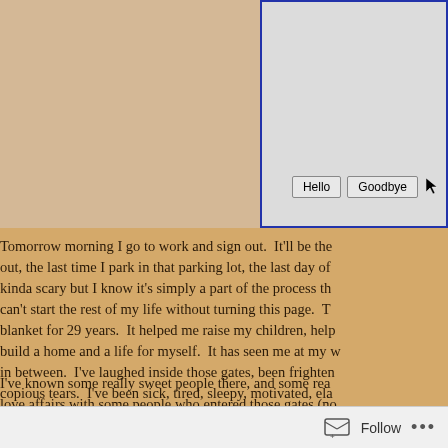[Figure (screenshot): Partial browser window/dialog screenshot with tan background on left and a grey dialog box on right with 'Hello' and 'Goodbye' buttons and a cursor arrow icon]
Tomorrow morning I go to work and sign out.  It'll be the last time I park in that parking lot, the last day of kinda scary but I know it's simply a part of the process th can't start the rest of my life without turning this page.  T blanket for 29 years.  It helped me raise my children, help build a home and a life for myself.  It has seen me at my w in between.  I've laughed inside those gates, been frighten copious tears.  I've been sick, tired, sleepy, motivated, ela I've been, it's been within those borders, too.
I've known some really sweet people there, and some rea love affairs with some people who entered those gates (no I've argued with people there, been intimidated by people resented people there.  Just like real life, all those emotio
Follow ...